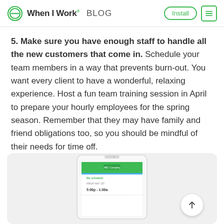When I Work BLOG | Install
5. Make sure you have enough staff to handle all the new customers that come in. Schedule your team members in a way that prevents burn-out. You want every client to have a wonderful, relaxing experience. Host a fun team training session in April to prepare your hourly employees for the spring season. Remember that they may have family and friend obligations too, so you should be mindful of their needs for time off.
[Figure (screenshot): A smartphone displaying the When I Work app showing 'My schedule' with a shift time of 5:00p - 1:00a, shown inside a light gray rounded rectangle card.]